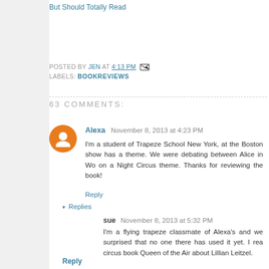But Should Totally Read
POSTED BY JEN AT 4:13 PM
LABELS: BOOKREVIEWS
63 COMMENTS:
Alexa  November 8, 2013 at 4:23 PM
I'm a student of Trapeze School New York, at the Boston show has a theme. We were debating between Alice in Wo on a Night Circus theme. Thanks for reviewing the book!
Reply
▾ Replies
sue  November 8, 2013 at 5:32 PM
I'm a flying trapeze classmate of Alexa's and we surprised that no one there has used it yet. I rea circus book Queen of the Air about Lillian Leitzel.
Reply